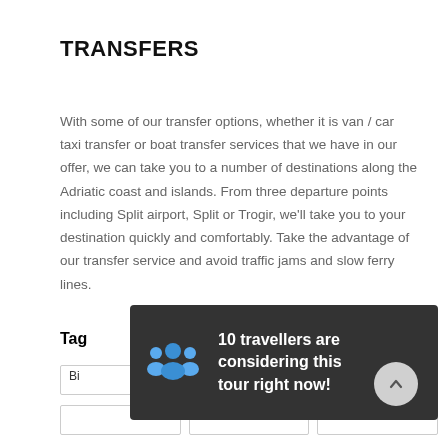TRANSFERS
With some of our transfer options, whether it is van / car taxi transfer or boat transfer services that we have in our offer, we can take you to a number of destinations along the Adriatic coast and islands. From three departure points including Split airport, Split or Trogir, we'll take you to your destination quickly and comfortably. Take the advantage of our transfer service and avoid traffic jams and slow ferry lines.
Tag
10 travellers are considering this tour right now!
Bi